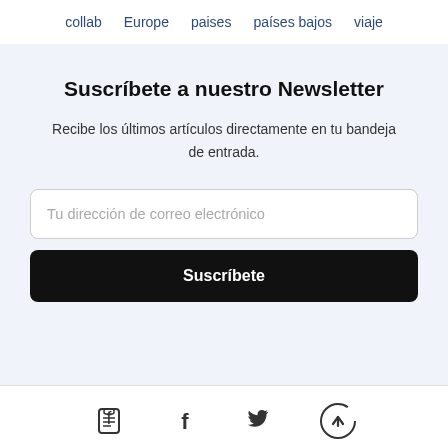collab   Europe   paises   países bajos   viaje
Suscríbete a nuestro Newsletter
Recibe los últimos artículos directamente en tu bandeja de entrada.
Tu dirección de correo electrónico
Suscríbete
[Figure (other): Footer social icons: Facebook, Twitter, and a scroll-to-top circle arrow button]